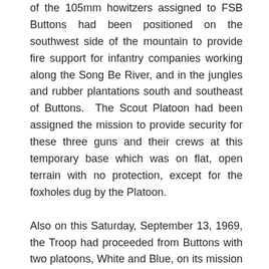of the 105mm howitzers assigned to FSB Buttons had been positioned on the southwest side of the mountain to provide fire support for infantry companies working along the Song Be River, and in the jungles and rubber plantations south and southeast of Buttons. The Scout Platoon had been assigned the mission to provide security for these three guns and their crews at this temporary base which was on flat, open terrain with no protection, except for the foxholes dug by the Platoon.
Also on this Saturday, September 13, 1969, the Troop had proceeded from Buttons with two platoons, White and Blue, on its mission to establish strong points along secondary Road